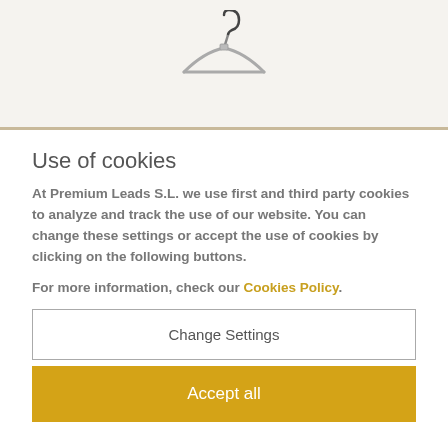[Figure (photo): Partial image of a clothes hanger against a light beige/cream background, with a horizontal dividing line below it.]
Use of cookies
At Premium Leads S.L. we use first and third party cookies to analyze and track the use of our website. You can change these settings or accept the use of cookies by clicking on the following buttons.
For more information, check our Cookies Policy.
Change Settings
Accept all